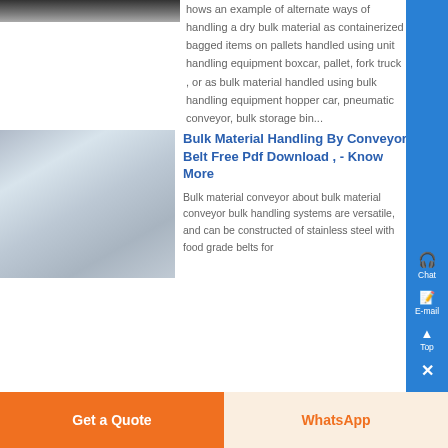[Figure (photo): Partial view of machinery or equipment at top left, dark tones]
hows an example of alternate ways of handling a dry bulk material as containerized bagged items on pallets handled using unit handling equipment boxcar, pallet, fork truck , or as bulk material handled using bulk handling equipment hopper car, pneumatic conveyor, bulk storage bin...
[Figure (photo): Industrial conveyor belt machinery with pipes and equipment, muted blue-gray tones]
Bulk Material Handling By Conveyor Belt Free Pdf Download , - Know More
Bulk material conveyor about bulk material conveyor bulk handling systems are versatile, and can be constructed of stainless steel with food grade belts for
Get a Quote
WhatsApp